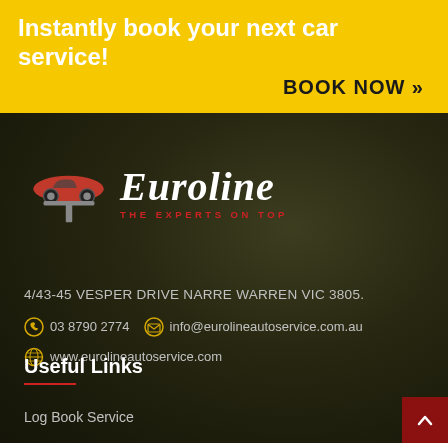Instantly book your next car service!
BOOK NOW »
[Figure (logo): Euroline Auto Service logo with red car on lift and italic white wordmark, tagline THE EXPERTS ON TOP in red]
4/43-45 VESPER DRIVE NARRE WARREN VIC 3805.
03 8790 2774  info@eurolineautoservice.com.au
www.eurolineautoservice.com
Useful Links
Log Book Service